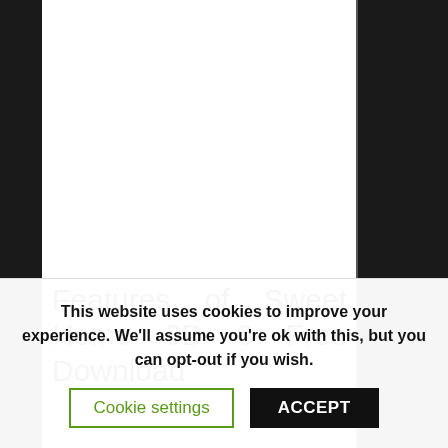Features of Sweet Home 3D 6 Free Download
Below are some amazing features you can experience after installation of Sweet Home 3D 6 Free Download please keep in mind features may vary and totally depends if your system support them.
This website uses cookies to improve your experience. We'll assume you're ok with this, but you can opt-out if you wish.
Cookie settings   ACCEPT